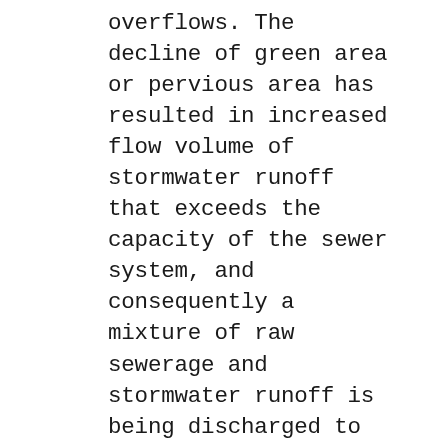overflows. The decline of green area or pervious area has resulted in increased flow volume of stormwater runoff that exceeds the capacity of the sewer system, and consequently a mixture of raw sewerage and stormwater runoff is being discharged to the receiving waters during as little as a half inch of rain. Despite the fact that ecosystem service is often considered as free goods and services, the estimated cost that the community must pay when the benefit of green area is lost is quite high. It is therefore important to estimate both economic and ecological benefit of green infrastructure in the District, including trees, green roof and other green areas to assess the change of those services over time. The goal of this study is to conduct Geographic Information System (GIS) based ecosystem service